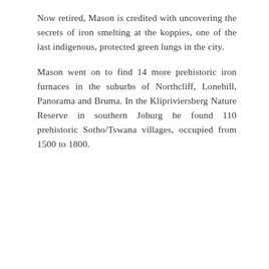Now retired, Mason is credited with uncovering the secrets of iron smelting at the koppies, one of the last indigenous, protected green lungs in the city.
Mason went on to find 14 more prehistoric iron furnaces in the suburbs of Northcliff, Lonehill, Panorama and Bruma. In the Klipriviersberg Nature Reserve in southern Joburg he found 110 prehistoric Sotho/Tswana villages, occupied from 1500 to 1800.